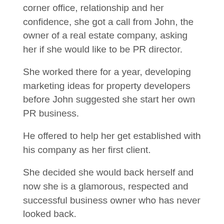corner office, relationship and her confidence, she got a call from John, the owner of a real estate company, asking her if she would like to be PR director.
She worked there for a year, developing marketing ideas for property developers before John suggested she start her own PR business.
He offered to help her get established with his company as her first client.
She decided she would back herself and now she is a glamorous, respected and successful business owner who has never looked back.
That's all for today folks!
Unless the first part was such a downer you need a sugar free, fat free, no guilt upper, in which case here's a song guaranteed to put a smile on your face!
wishing you the best of days!
[Figure (photo): Partial photo of a person, cropped at bottom of page]